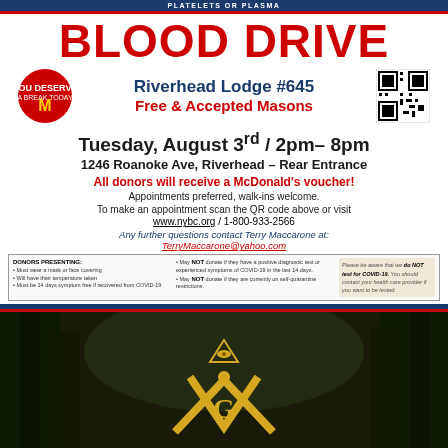PLATELETS OR PLASMA
BLOOD DRIVE
Riverhead Lodge #645
Free & Accepted Masons
Tuesday, August 3rd / 2pm– 8pm
1246 Roanoke Ave, Riverhead – Rear Entrance
All donors will receive a McDonald's voucher!
Appointments preferred, walk-ins welcome.
To make an appointment scan the QR code above or visit www.nybc.org / 1-800-933-2566
Any further questions contact Terry Maccarone at: TerryMaccarone@yahoo.com
DONORS PRESENTING: Must wear a mask or face covering. Will have their temperature taken. Must be 14 days symptom free if recovered from COVID-19. May NOT donate if they have a positive diagnostic test or experienced symptoms of COVID-19 in the last 14 days. May NOT donate if they are currently on self-quarantine restrictions. Please be aware that we do NOT test for COVID-19. You should contact your health care provider if you want to be tested.
[Figure (photo): Masonic square and compass emblem (gold/yellow) overlaid on a dark forested background]